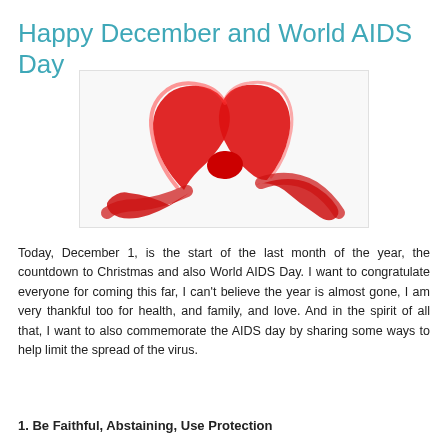Happy December and World AIDS Day
[Figure (illustration): Red AIDS awareness ribbon brushstroke illustration on white background]
Today, December 1, is the start of the last month of the year, the countdown to Christmas and also World AIDS Day. I want to congratulate everyone for coming this far, I can't believe the year is almost gone, I am very thankful too for health, and family, and love. And in the spirit of all that, I want to also commemorate the AIDS day by sharing some ways to help limit the spread of the virus.
1. Be Faithful, Abstaining, Use Protection